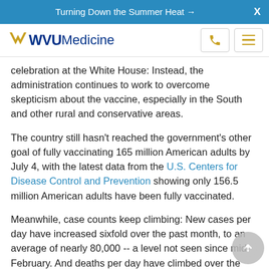Turning Down the Summer Heat →
[Figure (logo): WVU Medicine logo with gold flying WV bird and blue WVU Medicine text]
celebration at the White House: Instead, the administration continues to work to overcome skepticism about the vaccine, especially in the South and other rural and conservative areas.
The country still hasn't reached the government's other goal of fully vaccinating 165 million American adults by July 4, with the latest data from the U.S. Centers for Disease Control and Prevention showing only 156.5 million American adults have been fully vaccinated.
Meanwhile, case counts keep climbing: New cases per day have increased sixfold over the past month, to an average of nearly 80,000 -- a level not seen since mid-February. And deaths per day have climbed over the past two weeks, from an average of 259 to 360, the AP reported.